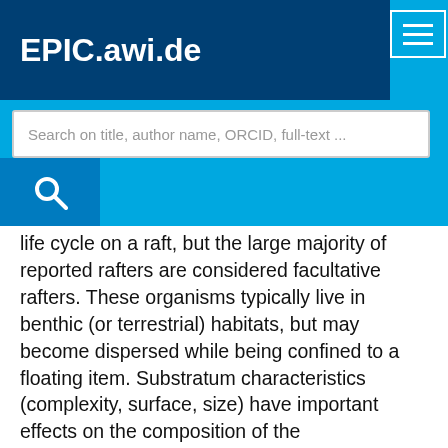EPIC.awi.de
Search on title, author name, ORCID, full-text ...
life cycle on a raft, but the large majority of reported rafters are considered facultative rafters. These organisms typically live in benthic (or terrestrial) habitats, but may become dispersed while being confined to a floating item. Substratum characteristics (complexity, surface, size) have important effects on the composition of the